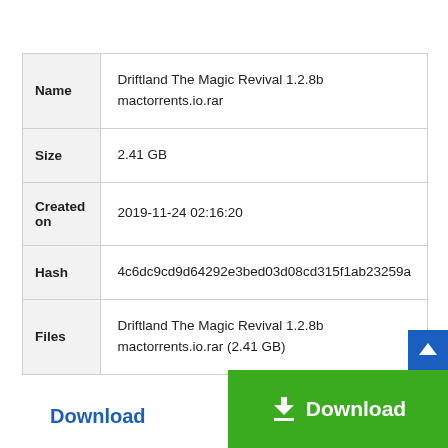|  |  |
| --- | --- |
| Name | Driftland The Magic Revival 1.2.8b
mactorrents.io.rar |
| Size | 2.41 GB |
| Created on | 2019-11-24 02:16:20 |
| Hash | 4c6dc9cd9d64292e3bed03d08cd315f1ab23259a |
| Files | Driftland The Magic Revival 1.2.8b
mactorrents.io.rar (2.41 GB) |
Download
[Figure (other): Green Download button with download icon and white text 'Download']